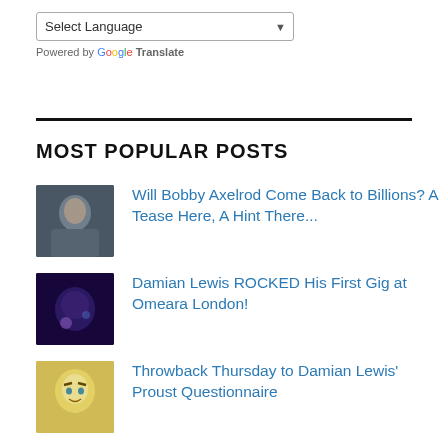Select Language (dropdown) — Powered by Google Translate
MOST POPULAR POSTS
Will Bobby Axelrod Come Back to Billions? A Tease Here, A Hint There...
Damian Lewis ROCKED His First Gig at Omeara London!
Throwback Thursday to Damian Lewis' Proust Questionnaire
How Keane gave us Brody and How Brody gave us Axe *UPDATED*